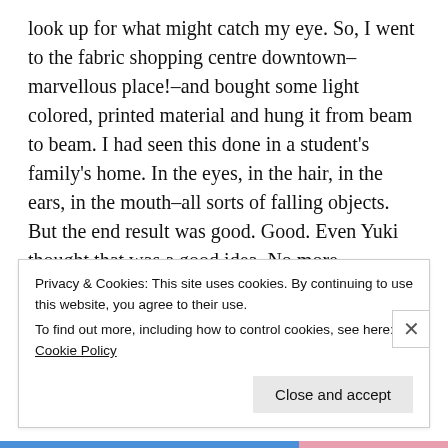look up for what might catch my eye. So, I went to the fabric shopping centre downtown–marvellous place!–and bought some light colored, printed material and hung it from beam to beam. I had seen this done in a student's family's home. In the eyes, in the hair, in the ears, in the mouth–all sorts of falling objects. But the end result was good. Good. Even Yuki thought that was a good idea. No more wondering what's in my food other than what I put in it.
This front room is full of the landlady's shit, hers
Privacy & Cookies: This site uses cookies. By continuing to use this website, you agree to their use. To find out more, including how to control cookies, see here: Cookie Policy